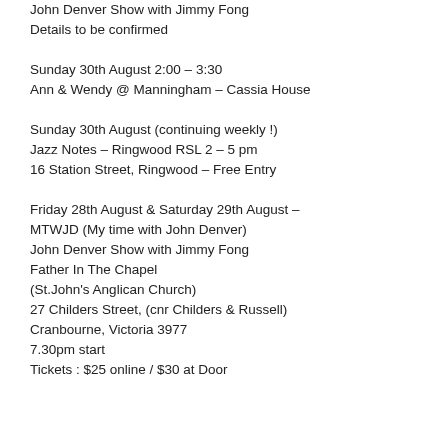John Denver Show with Jimmy Fong
Details to be confirmed
Sunday 30th August 2:00 – 3:30
Ann & Wendy @ Manningham – Cassia House
Sunday 30th August (continuing weekly !)
Jazz Notes – Ringwood RSL 2 – 5 pm
16 Station Street, Ringwood – Free Entry
Friday 28th August & Saturday 29th August –
MTWJD (My time with John Denver)
John Denver Show with Jimmy Fong
Father In The Chapel
(St.John's Anglican Church)
27 Childers Street, (cnr Childers & Russell)
Cranbourne, Victoria 3977
7.30pm start
Tickets : $25 online / $30 at Door